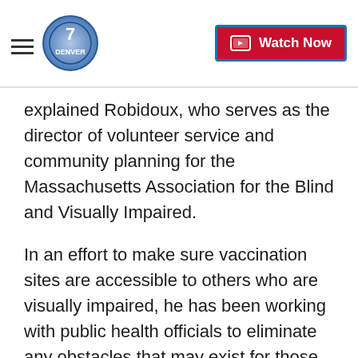Denver7 — Watch Now
explained Robidoux, who serves as the director of volunteer service and community planning for the Massachusetts Association for the Blind and Visually Impaired.
In an effort to make sure vaccination sites are accessible to others who are visually impaired, he has been working with public health officials to eliminate any obstacles that may exist for those who can't see.
Every detail matters for Robidoux. At this vaccination site, rope lines outside meant to control crowds can be confusing. While they help direct Robidoux toward the entrance, they also created a barrier.